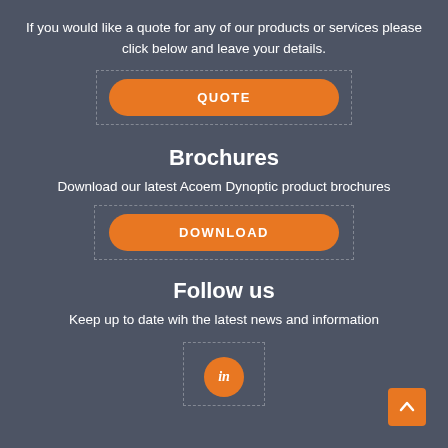If you would like a quote for any of our products or services please click below and leave your details.
[Figure (other): Orange rounded button labeled QUOTE]
Brochures
Download our latest Acoem Dynoptic product brochures
[Figure (other): Orange rounded button labeled DOWNLOAD]
Follow us
Keep up to date wih the latest news and information
[Figure (logo): LinkedIn orange circle icon with 'in' text]
[Figure (other): Orange back-to-top arrow button in bottom right corner]